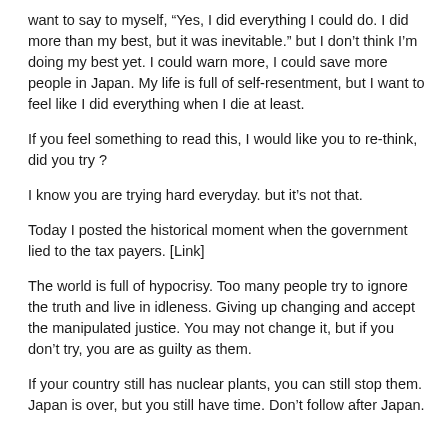want to say to myself, “Yes, I did everything I could do. I did more than my best, but it was inevitable.”  but I don’t think I’m doing my best yet. I could warn more, I could save more people in Japan. My life is full of self-resentment, but I want to feel like I did everything when I die at least.
If you feel something to read this, I would like you to re-think, did you try ?
I know you are trying hard everyday. but it’s not that.
Today I posted the historical moment when the government lied to the tax payers. [Link]
The world is full of hypocrisy. Too many people try to ignore the truth and live in idleness. Giving up changing and accept the manipulated justice. You may not change it, but if you don’t try, you are as guilty as them.
If your country still has nuclear plants, you can still stop them. Japan is over, but you still have time. Don’t follow after Japan.